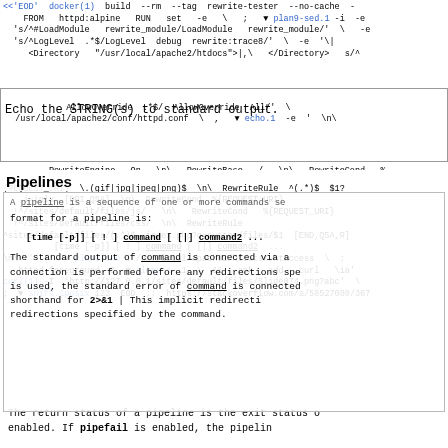<<'EOD' docker(1) build --rm --tag rewrite-tester --no-cache - FROM httpd:alpine RUN set -e \ ; plan9-sed.1 -i -e 's/^#LoadModule rewrite_module/LoadModule rewrite_module/' \ -e 's/^LogLevel .*$/LogLevel debug rewrite:trace8/' \ -e '\|<Directory "/usr/local/apache2/htdocs">|,\ </Directory> s/^
AllowOverride .*$/ AllowOverride All/' \ Echo the STRING(s) to standard output. /usr/local/apache2/conf/httpd.conf \ , echo.1 -e ' \n\
RewriteEngine On \n\ RewriteBase / \n\ RewriteCond %
Pipelines
{REQUEST_URI} \.(gif|jpg|jpeg|png)$ \n\ RewriteRule ^(.*)$ $1? i=inlx [DPI,QSA] \n\ RewriteCond %{REQUEST_URI} !^/sites/default/files/js/ \n\ RewriteCond %{REQUEST_URI} !^/sites/default/files/css/ \n\ RewriteRule ^sites/default/files/(.*)$ index.php?q=system/files/$1 [END,QSA,R]
A pipeline is a sequence of one or more commands separated by the control operator |. The format for a pipeline is:
[time [-p]] [ ! ] command [ [|] command2 ...
\n\ ' | plan9-tee.1 /usr/local/apache2/htdocs/.htaccess \ ; httpd-foreground & sleep.1 1 \ && apk add curl \ ia' The standard output of command is connected via a pipe; connection is performed before any redirections spe is used, the standard error of command is connected shorthand for 2>&1 | This implicit redirecti redirections specified by the command.
The return status of a pipeline is the exit status o enabled. If pipefail is enabled, the pipelin